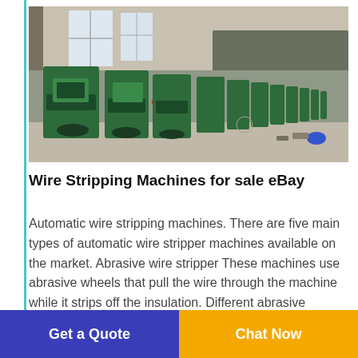[Figure (photo): Industrial warehouse interior with rows of green wire stripping machines lined up on a factory floor, large windows in the background.]
Wire Stripping Machines for sale eBay
Automatic wire stripping machines. There are five main types of automatic wire stripper machines available on the market. Abrasive wire stripper These machines use abrasive wheels that pull the wire through the machine while it strips off the insulation. Different abrasive materials are used for different